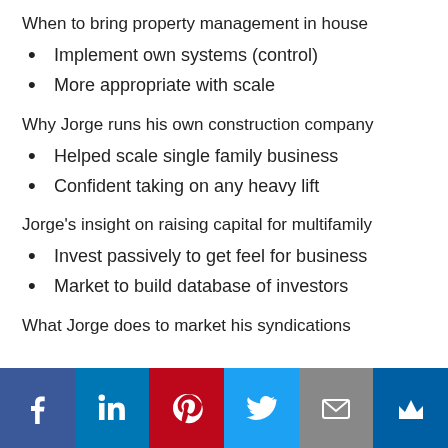When to bring property management in house
Implement own systems (control)
More appropriate with scale
Why Jorge runs his own construction company
Helped scale single family business
Confident taking on any heavy lift
Jorge's insight on raising capital for multifamily
Invest passively to get feel for business
Market to build database of investors
What Jorge does to market his syndications
[Figure (infographic): Social media sharing buttons bar: Facebook (blue), LinkedIn (blue), Pinterest (red), Twitter (light blue), Email (gray), Crown/other (dark blue)]